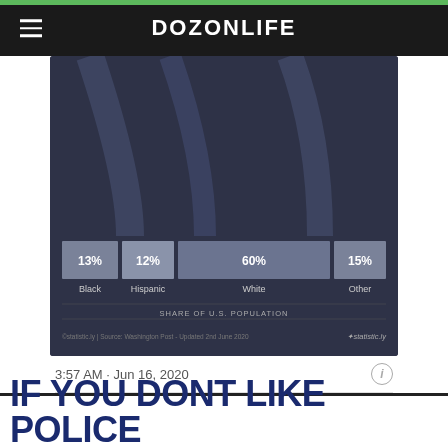DOZONLIFE
[Figure (bar-chart): Stacked horizontal bar chart showing racial share of U.S. population: Black 13%, Hispanic 12%, White 60%, Other 15%. Dark background with statistic.ly branding.]
3:57 AM · Jun 16, 2020
83K  Reply  Copy link
Read 591 replies
IF YOU DONT LIKE POLICE